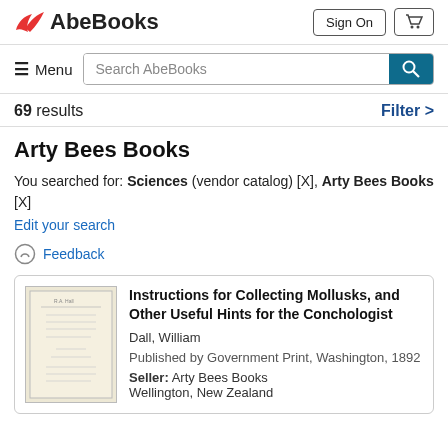[Figure (logo): AbeBooks logo with red bird icon and bold text]
Sign On
[Figure (other): Shopping cart icon button]
≡ Menu
Search AbeBooks
69 results
Filter >
Arty Bees Books
You searched for: Sciences (vendor catalog) [X], Arty Bees Books [X]
Edit your search
Feedback
Instructions for Collecting Mollusks, and Other Useful Hints for the Conchologist
Dall, William
Published by Government Print, Washington, 1892
Seller: Arty Bees Books Wellington, New Zealand